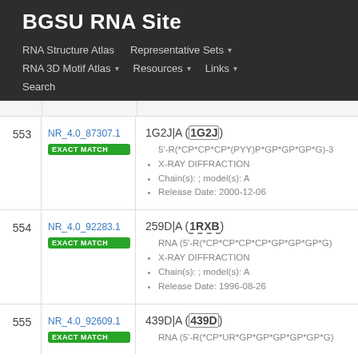BGSU RNA Site
RNA Structure Atlas | Representative Sets ▾ | RNA 3D Motif Atlas ▾ | Resources ▾ | Links ▾ | Search
| # | ID | Details |
| --- | --- | --- |
| 553 | NR_4.0_87307.1
EXACT MATCH | 1G2J|A (1G2J)
• 5'-R(*CP*CP*CP*(PYY)P*GP*GP*GP*G)-3
• X-RAY DIFFRACTION
• Chain(s): ; model(s): A
• Release Date: 2000-12-06 |
| 554 | NR_4.0_92283.1
EXACT MATCH | 259D|A (1RXB)
• RNA (5'-R(*CP*CP*CP*CP*GP*GP*GP*G))
• X-RAY DIFFRACTION
• Chain(s): ; model(s): A
• Release Date: 1996-08-26 |
| 555 | NR_4.0_92609.1
EXACT MATCH | 439D|A (439D)
• RNA (5'-R(*CP*UR*GP*GP*GP*GP*GP*G) |